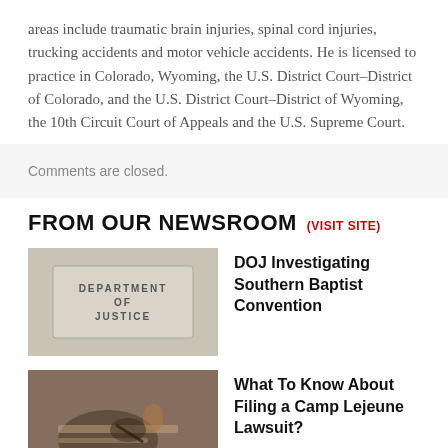areas include traumatic brain injuries, spinal cord injuries, trucking accidents and motor vehicle accidents. He is licensed to practice in Colorado, Wyoming, the U.S. District Court–District of Colorado, and the U.S. District Court–District of Wyoming, the 10th Circuit Court of Appeals and the U.S. Supreme Court.
Comments are closed.
FROM OUR NEWSROOM (VISIT SITE)
[Figure (photo): Photo of Department of Justice sign or placard with text 'DEPARTMENT OF JUSTICE']
DOJ Investigating Southern Baptist Convention
[Figure (photo): Photo of a person writing on paper with a pen, hands visible on a desk]
What To Know About Filing a Camp Lejeune Lawsuit?